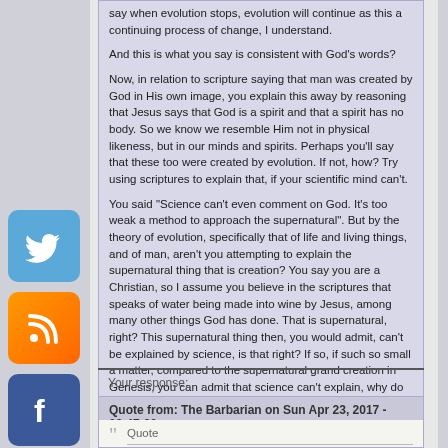say when evolution stops, evolution will continue as this a continuing process of change, I understand.
And this is what you say is consistent with God's words?
Now, in relation to scripture saying that man was created by God in His own image, you explain this away by reasoning that Jesus says that God is a spirit and that a spirit has no body. So we know we resemble Him not in physical likeness, but in our minds and spirits. Perhaps you'll say that these too were created by evolution. If not, how? Try using scriptures to explain that, if your scientific mind can't.
You said "Science can't even comment on God.   It's too weak a method to approach the supernatural". But by the theory of evolution, specifically that of life and living things, and of man, aren't you attempting to explain the supernatural thing that is creation? You say you are a Christian, so I assume you believe in the scriptures that speaks of water being made into wine by Jesus, among many other things God has done. That is supernatural, right? This supernatural thing then, you would admit, can't be explained by science, is that right? If so, if such so small a matter, compared to the supernatural grand creation in Genesis, you can admit that science can't explain, why do you now say then that the scientific theory of evolution seems to explain how God created the living things and man?
Your response:
Quote from: The Barbarian on Sun Apr 23, 2017 - 08:47:20
Quote